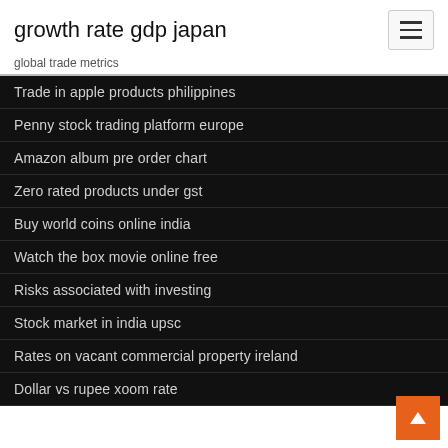growth rate gdp japan
global trade metrics
Trade in apple products philippines
Penny stock trading platform europe
Amazon album pre order chart
Zero rated products under gst
Buy world coins online india
Watch the box movie online free
Risks associated with investing
Stock market in india upsc
Rates on vacant commercial property ireland
Dollar vs rupee xoom rate